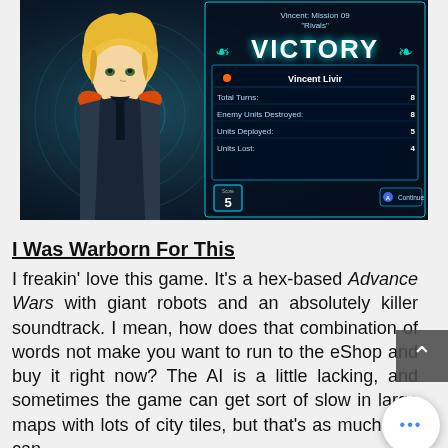[Figure (screenshot): Video game screenshot showing a Victory screen for 'Vincent: Mission 09 Rivals'. An anime-style character with blonde hair in an orange and dark jacket is shown on the left. On the right, a stats panel shows: Vincent Livir - Total Turns: 8, Enemy Units Destroyed: 8, Units Deployed: 5, Units Lost: 4. A score badge shows 5. A Continue button is at the bottom right.]
I Was Warborn For This
I freakin' love this game. It's a hex-based Advance Wars with giant robots and an absolutely killer soundtrack. I mean, how does that combination of words not make you want to run to the eShop and buy it right now? The AI is a little lacking, and sometimes the game can get sort of slow in large maps with lots of city tiles, but that's as much as I can